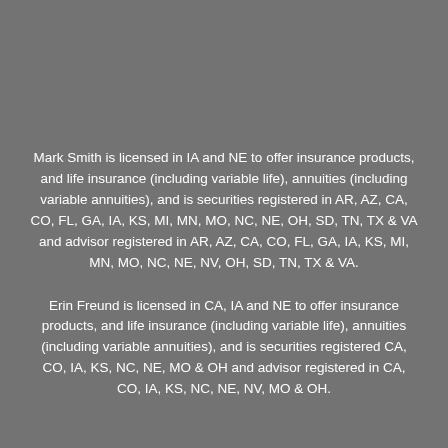Mark Smith is licensed in IA and NE to offer insurance products, and life insurance (including variable life), annuities (including variable annuities), and is securities registered in AR, AZ, CA, CO, FL, GA, IA, KS, MI, MN, MO, NC, NE, OH, SD, TN, TX & VA and advisor registered in AR, AZ, CA, CO, FL, GA, IA, KS, MI, MN, MO, NC, NE, NV, OH, SD, TN, TX & VA.
Erin Freund is licensed in CA, IA and NE to offer insurance products, and life insurance (including variable life), annuities (including variable annuities), and is securities registered CA, CO, IA, KS, NC, NE, MO & OH and advisor registered in CA, CO, IA, KS, NC, NE, NV, MO & OH.
This site is not a solicitation of interest in any of these products in any other state.